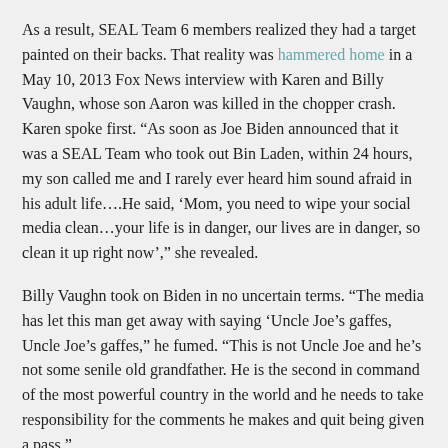As a result, SEAL Team 6 members realized they had a target painted on their backs. That reality was hammered home in a May 10, 2013 Fox News interview with Karen and Billy Vaughn, whose son Aaron was killed in the chopper crash. Karen spoke first. “As soon as Joe Biden announced that it was a SEAL Team who took out Bin Laden, within 24 hours, my son called me and I rarely ever heard him sound afraid in his adult life….He said, ‘Mom, you need to wipe your social media clean…your life is in danger, our lives are in danger, so clean it up right now’,” she revealed.
Billy Vaughn took on Biden in no uncertain terms. “The media has let this man get away with saying ‘Uncle Joe’s gaffes, Uncle Joe’s gaffes,” he fumed. “This is not Uncle Joe and he’s not some senile old grandfather. He is the second in command of the most powerful country in the world and he needs to take responsibility for the comments he makes and quit being given a pass.”
Charles Strange, the father of slain SEAL Michael Strange, was also furious. During a family conference with reporters at the National Press Club in Washington a day earlier, Strange recounted his exchange with President Obama at Dover Air Force Base in Delaware on Aug. 9, 2011. Strange noted